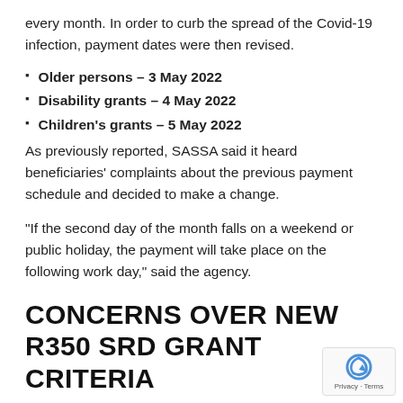every month. In order to curb the spread of the Covid-19 infection, payment dates were then revised.
Older persons – 3 May 2022
Disability grants – 4 May 2022
Children's grants – 5 May 2022
As previously reported, SASSA said it heard beneficiaries' complaints about the previous payment schedule and decided to make a change.
“If the second day of the month falls on a weekend or public holiday, the payment will take place on the following work day,” said the agency.
CONCERNS OVER NEW R350 SRD GRANT CRITERIA
The National Social Development will also look into SRD…